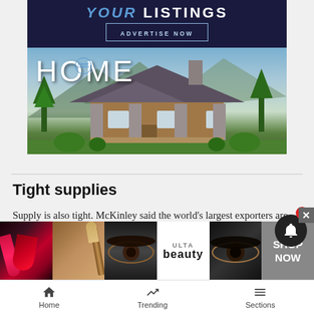[Figure (photo): Advertisement banner for Summit County Home magazine featuring a luxury log cabin house with mountains in background. Top text reads 'YOUR LISTINGS' and 'ADVERTISE NOW' button below.]
Tight supplies
Supply is also tight. McKinley said the world’s largest exporters are only hitting about 65% of their production capacity, a level far below the world’s needs, which
[Figure (photo): Ulta Beauty advertisement strip showing makeup/cosmetics images including lipstick, makeup brushes, eye makeup, Ulta logo, and SHOP NOW button]
Home   Trending   Sections